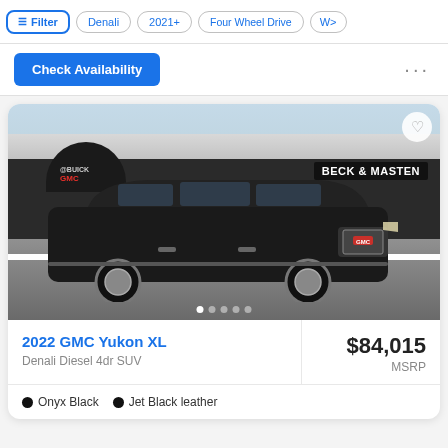Filter | Denali | 2021+ | Four Wheel Drive | W>
[Figure (screenshot): Check Availability button with blue background, followed by three dots menu icon]
[Figure (photo): 2022 GMC Yukon XL Denali in Onyx Black parked in front of Beck & Masten Buick GMC dealership]
2022 GMC Yukon XL
Denali Diesel 4dr SUV
$84,015
MSRP
Onyx Black
Jet Black leather